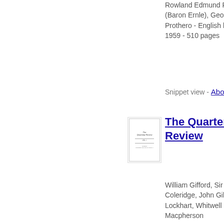Rowland Edmund Prothero (Baron Ernle), George Walter Prothero - English literature - 1959 - 510 pages
Snippet view - About this book
[Figure (illustration): Small thumbnail image of The Quarterly Review book cover]
The Quarterly Review
William Gifford, Sir John Taylor Coleridge, John Gibson Lockhart, Whitwell Elwin, William Macpherson